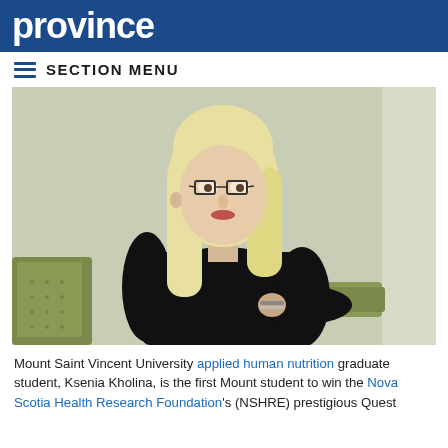province
SECTION MENU
[Figure (photo): A young woman with long blonde hair and glasses, wearing a black long-sleeve top, seated in a green chair against a light green wall.]
Mount Saint Vincent University applied human nutrition graduate student, Ksenia Kholina, is the first Mount student to win the Nova Scotia Health Research Foundation's (NSHRE) prestigious Quest